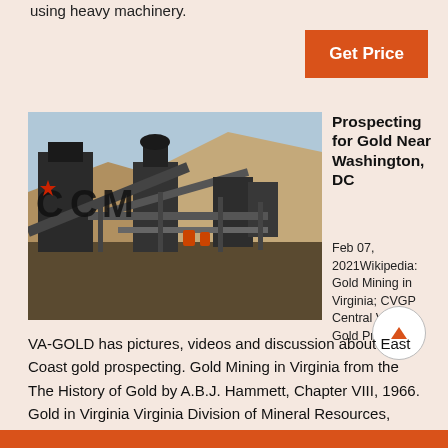using heavy machinery.
Get Price
[Figure (photo): Industrial mining facility with heavy machinery, conveyor belts, and structures. The letters 'CCM' with a red star are visible on the left side.]
Prospecting for Gold Near Washington, DC
Feb 07, 2021Wikipedia: Gold Mining in Virginia; CVGP Central Virginia Gold Prospe
VA-GOLD has pictures, videos and discussion about East Coast gold prospecting. Gold Mining in Virginia from the The History of Gold by A.B.J. Hammett, Chapter VIII, 1966. Gold in Virginia Virginia Division of Mineral Resources, Department of Mines, Minerals and Energy.